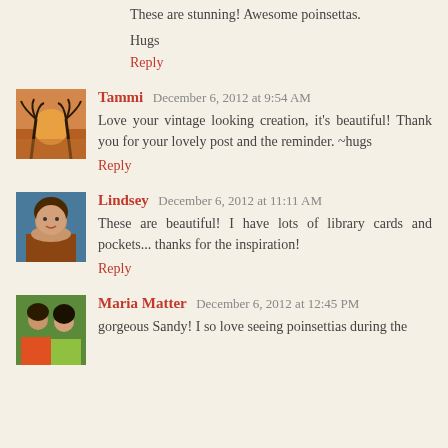These are stunning! Awesome poinsettas.
Hugs
Reply
Tammi  December 6, 2012 at 9:54 AM
Love your vintage looking creation, it's beautiful! Thank you for your lovely post and the reminder. ~hugs
Reply
Lindsey  December 6, 2012 at 11:11 AM
These are beautiful! I have lots of library cards and pockets... thanks for the inspiration!
Reply
Maria Matter  December 6, 2012 at 12:45 PM
gorgeous Sandy! I so love seeing poinsettias during the